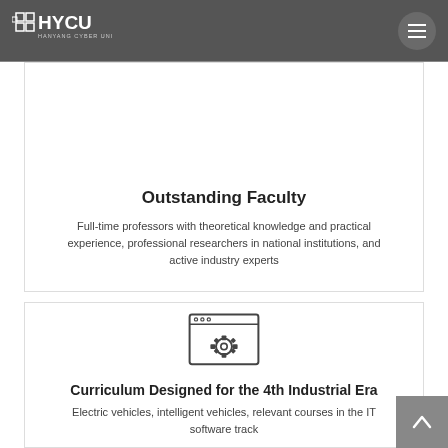HYCU - Hanyang Cyber University
Outstanding Faculty
Full-time professors with theoretical knowledge and practical experience, professional researchers in national institutions, and active industry experts
[Figure (illustration): Icon of a browser window with a gear/settings symbol inside, representing IT software curriculum]
Curriculum Designed for the 4th Industrial Era
Electric vehicles, intelligent vehicles, relevant courses in the IT software track